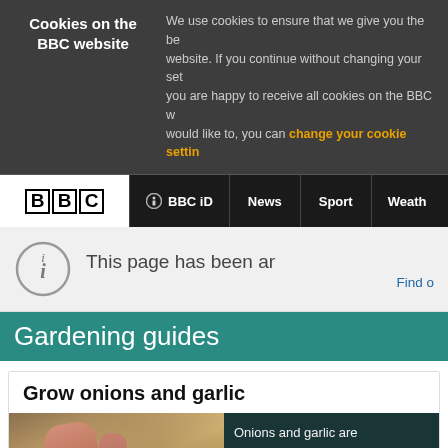Cookies on the BBC website — We use cookies to ensure that we give you the be... website. If you continue without changing your set... you are happy to receive all cookies on the BBC w... would like to, you can change your cookie settin...
BBC | BBC iD | News | Sport | Weather
This page has been ar... Find o...
Gardening guides
Grow onions and garlic
[Figure (photo): Close-up photo of hands handling garlic cloves on sandy/earthy ground]
Onions and garlic are... difficult even for a be... get the best results a... year-round supply.